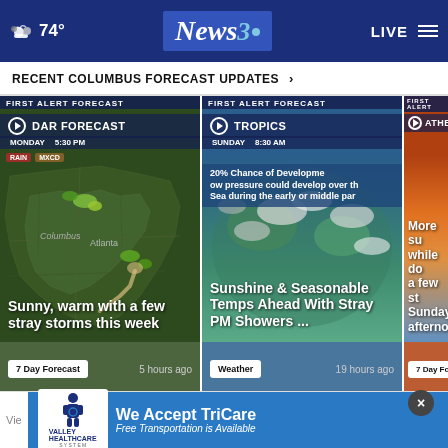74° News3 LIVE
RECENT COLUMBUS FORECAST UPDATES >
[Figure (screenshot): Weather card 1: Radar Forecast, Monday 5:30PM. Map of Atlanta/Columbus area with storm indicators. Headline: Sunny, warm with a few stray storms this week. Tag: 7 Day Forecast. 5 hours ago.]
[Figure (screenshot): Weather card 2: Tropics, Sunday 8:30AM. 20% Chance of Development – low pressure could develop over the Sea during the early or middle part. Satellite view. Headline: Sunshine & Seasonable Temps Ahead With Stray PM Showers... Tag: Weather. 19 hours ago.]
[Figure (screenshot): Weather card 3: Weather, partial view. Sunset image. Headline: More su... while do... a few st... Sunday... afterno... Tag: 7 Day Foreca... partial.]
[Figure (logo): Valley Healthcare advertisement: We Accept TriCare. Free Transportation is Available.]